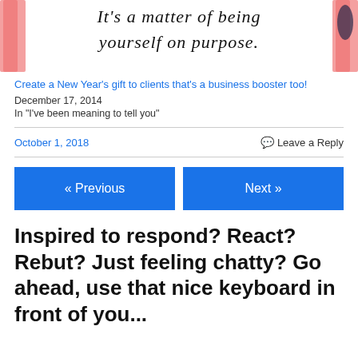[Figure (illustration): Handwritten-style quote text 'It's a matter of being yourself on purpose.' with decorative pink brush strokes on sides, partial image at top of page]
Create a New Year's gift to clients that's a business booster too!
December 17, 2014
In "I've been meaning to tell you"
October 1, 2018
Leave a Reply
« Previous
Next »
Inspired to respond? React? Rebut? Just feeling chatty? Go ahead, use that nice keyboard in front of you...